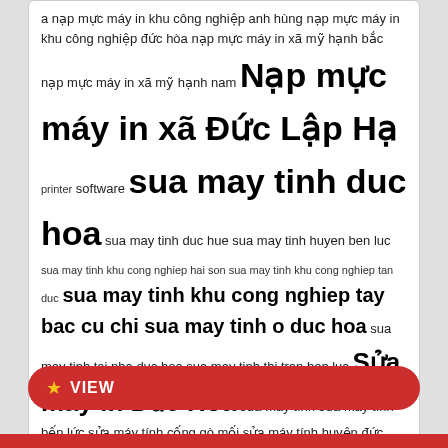a nạp mực máy in khu công nghiệp anh hùng nạp mực máy in khu công nghiệp đức hòa nạp mực máy in xã mỹ hạnh bắc nạp mực máy in xã mỹ hạnh nam Nạp mực máy in xã Đức Lập Hạ printer software sua may tinh duc hoa sua may tinh duc hue sua may tinh huyen ben luc sua may tinh khu cong nghiep hai son sua may tinh khu cong nghiep tan duc sua may tinh khu cong nghiep tay bac cu chi sua may tinh o duc hoa sua may tinh tai nha duc hoa sua may tinh thi tran ben luc Sửa máy in Đức Hòa sửa máy tính sửa máy tính bến lức sửa máy tính cống gò mối sửa máy tính huyện đức hòa sửa máy tinh tân phước hiệp Sửa máy tính tại nhà Sửa máy tính xã Mỹ Hạnh Bắc Sửa máy tính xã Mỹ Hạnh Nam Sửa máy tính xã Đức Hòa Hạ sửa máy tính xã đức lập hạ sửa máy vi tính đức hòa the nho thu thuat Tự sửa máy tính Đổ mực máy in huyện đức hòa
VIEW